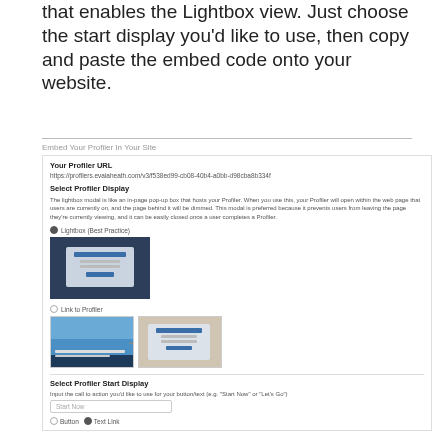that enables the Lightbox view. Just choose the start display you'd like to use, then copy and paste the embed code onto your website.
Embed Your Profiler In Your Site
Your Profiler URL
https://profilers.evaiaheath.com/v3/f538ed99-cb08-40b4-a0bb-d98cba8b334f
Select Profiler Display
The lightbox modal is like an in-page pop-up box that hosts your Profiler. When you use this, your Profiler will open within the web page that users are currently on, and the page behind it will be dimmed. This modal is preferred because it prevents users from leaving the page they're currently viewing, and it can be easily closed once a user completes a Profiler.
Lightbox (Best Practice)
[Figure (screenshot): Screenshot showing a lightbox modal overlay on a darkened webpage background, with a light-colored dialog box containing a form/profiler interface.]
Link to Profiler
[Figure (screenshot): Two side-by-side screenshots: left shows a website with a surgeon image and an orange arrow pointing right; right shows the lightbox profiler modal appearing over a blurred background.]
Select Profiler Start Display
Input the call to action you'd like to use for your button/text (e.g. "Start Now" or "Let's Go")
Start Now
Button   Text Link